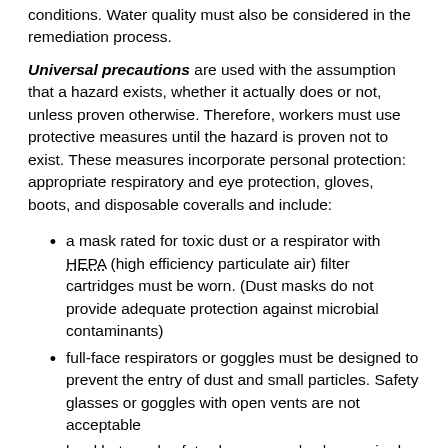conditions. Water quality must also be considered in the remediation process.
Universal precautions are used with the assumption that a hazard exists, whether it actually does or not, unless proven otherwise. Therefore, workers must use protective measures until the hazard is proven not to exist. These measures incorporate personal protection: appropriate respiratory and eye protection, gloves, boots, and disposable coveralls and include:
a mask rated for toxic dust or a respirator with HEPA (high efficiency particulate air) filter cartridges must be worn. (Dust masks do not provide adequate protection against microbial contaminants)
full-face respirators or goggles must be designed to prevent the entry of dust and small particles. Safety glasses or goggles with open vents are not acceptable
hard hats and safety shoes may also be required
good housekeeping and personal hygiene practices